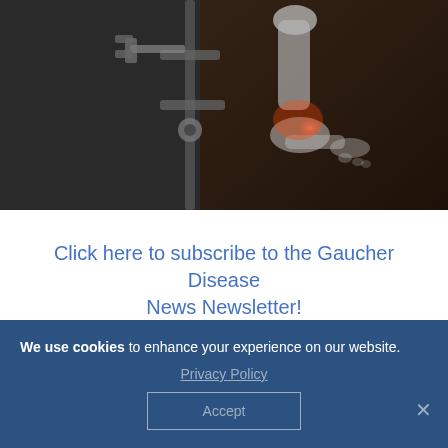[Figure (photo): Medical x-ray illustration of a leg/ankle joint with glowing red/orange inflammation at the ankle area, robotic prosthetic limb visible on a dark grey background.]
Click here to subscribe to the Gaucher Disease News Newsletter!
An excess of sphingolipids — a hallmark of Gaucher disease — contributes to an
We use cookies to enhance your experience on our website.
Privacy Policy
Accept